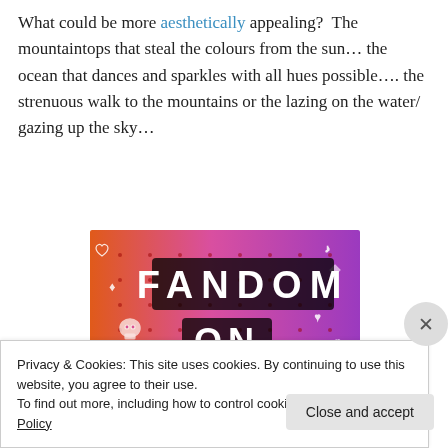What could be more aesthetically appealing?  The mountaintops that steal the colours from the sun… the ocean that dances and sparkles with all hues possible…. the strenuous walk to the mountains or the lazing on the water/ gazing up the sky…
[Figure (illustration): Colorful banner image with orange-to-purple gradient background, decorated with small white icons (skulls, hearts, music notes, arrows, diamonds). Large bold text reads 'FANDOM ON tumblr'.]
Privacy & Cookies: This site uses cookies. By continuing to use this website, you agree to their use.
To find out more, including how to control cookies, see here: Cookie Policy
Close and accept